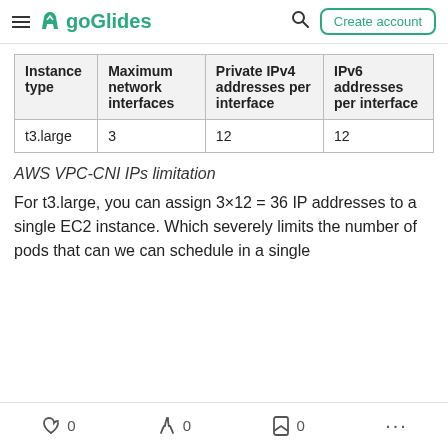≡ goGlides  🔍  Create account
| Instance type | Maximum network interfaces | Private IPv4 addresses per interface | IPv6 addresses per interface |
| --- | --- | --- | --- |
| t3.large | 3 | 12 | 12 |
AWS VPC-CNI IPs limitation
For t3.large, you can assign 3×12 = 36 IP addresses to a single EC2 instance. Which severely limits the number of pods that can we can schedule in a single
♡ 0   🔥 0   🔖 0   ...